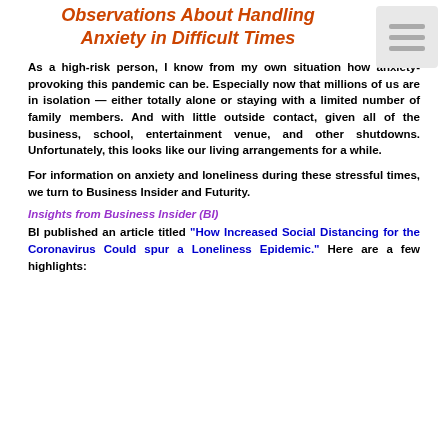Observations About Handling Anxiety in Difficult Times
As a high-risk person, I know from my own situation how anxiety-provoking this pandemic can be. Especially now that millions of us are in isolation — either totally alone or staying with a limited number of family members. And with little outside contact, given all of the business, school, entertainment venue, and other shutdowns. Unfortunately, this looks like our living arrangements for a while.
For information on anxiety and loneliness during these stressful times, we turn to Business Insider and Futurity.
Insights from Business Insider (BI)
BI published an article titled "How Increased Social Distancing for the Coronavirus Could spur a Loneliness Epidemic." Here are a few highlights: